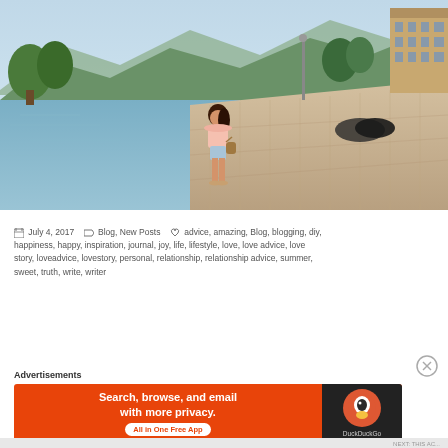[Figure (photo): A woman standing on a wooden dock by a lake, wearing an off-shoulder pink top and denim shorts, holding a bag. Trees, mountains, and a building visible in the background.]
July 4, 2017   Blog, New Posts   advice, amazing, Blog, blogging, diy, happiness, happy, inspiration, journal, joy, life, lifestyle, love, love advice, love story, loveadvice, lovestory, personal, relationship, relationship advice, summer, sweet, truth, write, writer
Advertisements
[Figure (screenshot): DuckDuckGo advertisement banner: 'Search, browse, and email with more privacy. All in One Free App' with DuckDuckGo logo on dark background.]